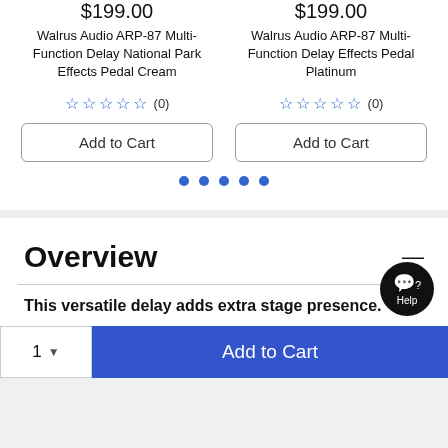$199.00
Walrus Audio ARP-87 Multi-Function Delay National Park Effects Pedal Cream
$199.00
Walrus Audio ARP-87 Multi-Function Delay Effects Pedal Platinum
☆☆☆☆☆ (0)
☆☆☆☆☆ (0)
Add to Cart
Add to Cart
Overview
This versatile delay adds extra stage presence.
1 ▼
Add to Cart